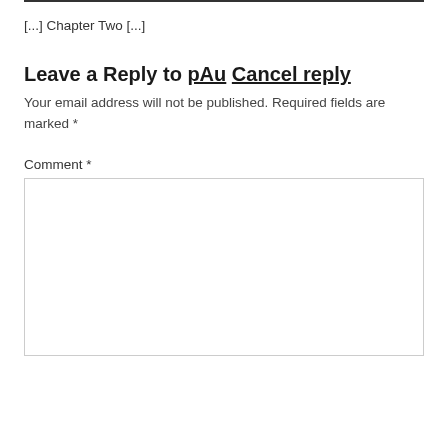[...] Chapter Two [...]
Leave a Reply to pAu Cancel reply
Your email address will not be published. Required fields are marked *
Comment *